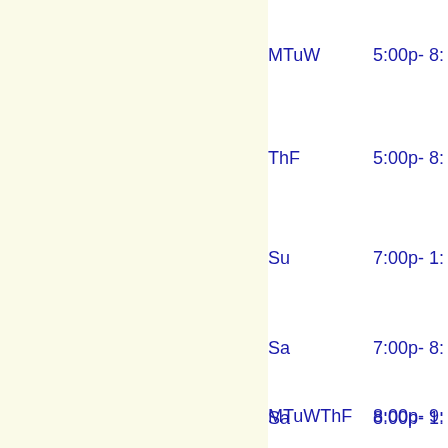MTuW       5:00p- 8:...
ThF        5:00p- 8:...
Su         7:00p- 1:...
Sa         7:00p- 8:...
Sa         8:00p- 1:...
MTuWThF    8:00p- 9:...